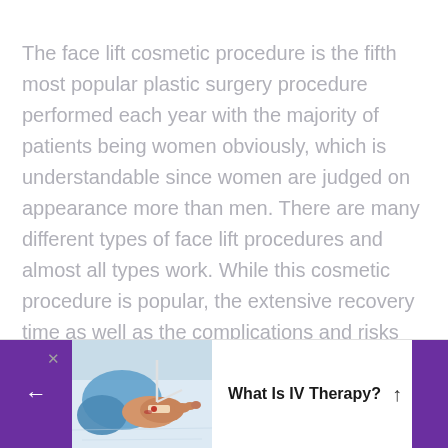The face lift cosmetic procedure is the fifth most popular plastic surgery procedure performed each year with the majority of patients being women obviously, which is understandable since women are judged on appearance more than men. There are many different types of face lift procedures and almost all types work. While this cosmetic procedure is popular, the extensive recovery time as well as the complications and risks usually push those considering this procedure to look into other
[Figure (photo): A bottom navigation banner showing a purple left arrow button, an image of a hand with an IV drip/therapy line, and text reading 'What Is IV Therapy?' with an up arrow, on a white background with purple accent on the right.]